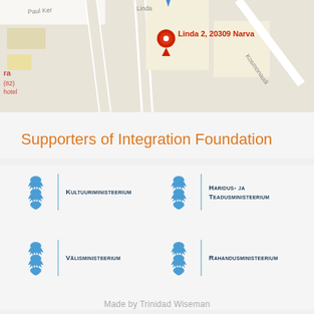[Figure (map): Google Maps screenshot showing Linda 2, 20309 Narva location with a red pin marker. Streets visible include Paul Kere, Linda, Kosmonaudi. Text on map: Linda 2, 20309 Narva]
Supporters of Integration Foundation
[Figure (logo): Estonian coat of arms logo with text: Kultuuriministeerium]
[Figure (logo): Estonian coat of arms logo with text: Haridus- ja Teadusministeerium]
[Figure (logo): Estonian coat of arms logo with text: Välisministeerium]
[Figure (logo): Estonian coat of arms logo with text: Rahandusministeerium]
Made by Trinidad Wiseman